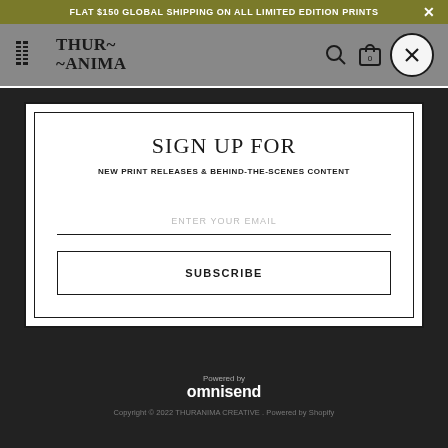FLAT $150 GLOBAL SHIPPING ON ALL LIMITED EDITION PRINTS
[Figure (logo): THUR~ANIMA brand logo with geometric icon]
SIGN UP FOR
NEW PRINT RELEASES & BEHIND-THE-SCENES CONTENT
ENTER YOUR EMAIL
SUBSCRIBE
Powered by omnisend
Copyright © 2022 THURANIMA CREATIVE . Powered by Shopify